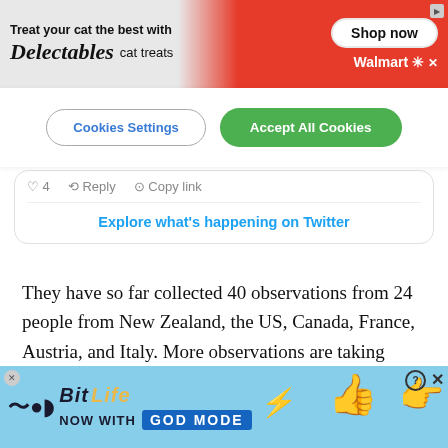[Figure (screenshot): Delectables cat treats advertisement banner with cat image, Squeeze Up product, Shop now button, and Walmart branding on red/grey background]
Cookies Settings | Accept All Cookies
[Figure (screenshot): Twitter embedded widget showing action buttons: 4 likes, Reply, Copy link, and Explore what's happening on Twitter link]
They have so far collected 40 observations from 24 people from New Zealand, the US, Canada, France, Austria, and Italy. More observations are taking place in Australia, the Netherlands, and other European countries as the asteroid reaches its closest point to
[Figure (screenshot): BitLife game advertisement with blue background, BitLife logo, NOW WITH GOD MODE text, thumbs up and pointing hand graphics]